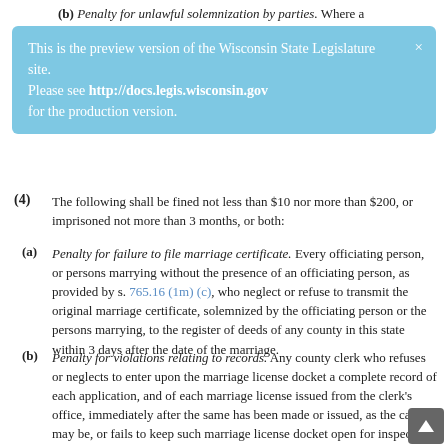(b) Penalty for unlawful solemnization by parties. Where a
[Figure (screenshot): Preview banner for Wisconsin State Legislature site: 'This is the preview version of the Wisconsin State Legislature site. Please see http://docs.legis.wisconsin.gov for the production version.' with a close X button.]
(4) The following shall be fined not less than $10 nor more than $200, or imprisoned not more than 3 months, or both:
(a) Penalty for failure to file marriage certificate. Every officiating person, or persons marrying without the presence of an officiating person, as provided by s. 765.16 (1m) (c), who neglect or refuse to transmit the original marriage certificate, solemnized by the officiating person or the persons marrying, to the register of deeds of any county in this state within 3 days after the date of the marriage.
(b) Penalty for violations relating to records. Any county clerk who refuses or neglects to enter upon the marriage license docket a complete record of each application, and of each marriage license issued from the clerk's office, immediately after the same has been made or issued, as the case may be, or fails to keep such marriage license docket open for inspection or examination by the public during office hours, or prohibits or prevents any person from making a copy or abstract of the entries in the marriage license docket.
(5) The following shall be fined not less than $10...